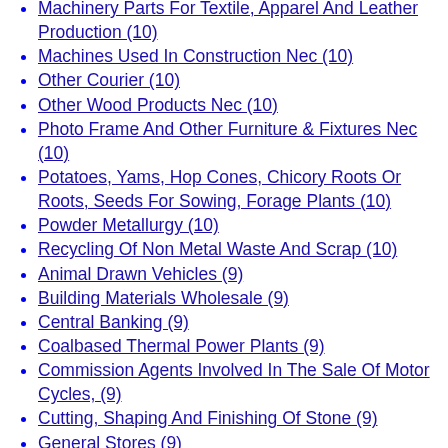Machinery Parts For Textile, Apparel And Leather Production (10)
Machines Used In Construction Nec (10)
Other Courier (10)
Other Wood Products Nec (10)
Photo Frame And Other Furniture & Fixtures Nec (10)
Potatoes, Yams, Hop Cones, Chicory Roots Or Roots, Seeds For Sowing, Forage Plants (10)
Powder Metallurgy (10)
Recycling Of Non Metal Waste And Scrap (10)
Animal Drawn Vehicles (9)
Building Materials Wholesale (9)
Central Banking (9)
Coalbased Thermal Power Plants (9)
Commission Agents Involved In The Sale Of Motor Cycles, (9)
Cutting, Shaping And Finishing Of Stone (9)
General Stores (9)
Market Research And Public Opinion Polling (9)
Office Repair (9)
Other Electric Domestic Appliances Nec (9)
Other Renting (9)
Other Sanitation Activities Nec (9)
Poultry, Hatchety, Egg Production (9)
Power, Telecommunication And Transmission Lines Contrtruction (9)